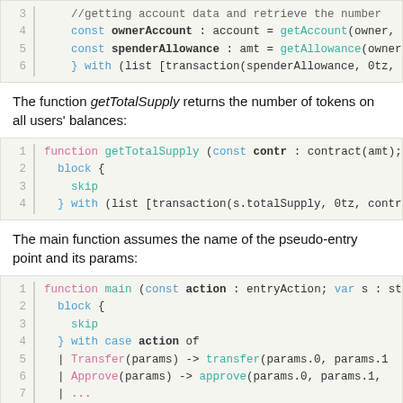[Figure (screenshot): Code block showing lines 3-6 with getAccount and getAllowance calls]
The function getTotalSupply returns the number of tokens on all users' balances:
[Figure (screenshot): Code block showing getTotalSupply function definition, lines 1-4]
The main function assumes the name of the pseudo-entry point and its params:
[Figure (screenshot): Code block showing main function definition, lines 1-6+]